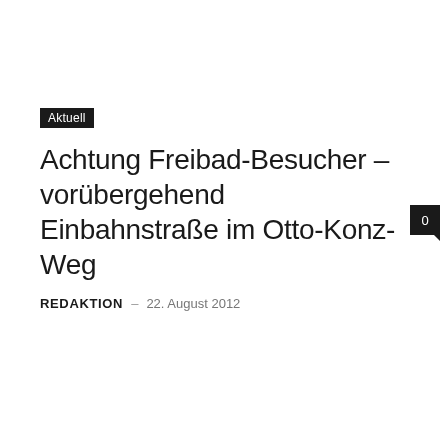Aktuell
Achtung Freibad-Besucher – vorübergehend Einbahnstraße im Otto-Konz-Weg
Redaktion – 22. August 2012